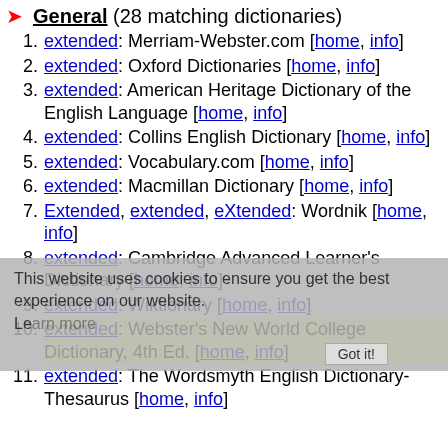General (28 matching dictionaries)
extended: Merriam-Webster.com [home, info]
extended: Oxford Dictionaries [home, info]
extended: American Heritage Dictionary of the English Language [home, info]
extended: Collins English Dictionary [home, info]
extended: Vocabulary.com [home, info]
extended: Macmillan Dictionary [home, info]
Extended, extended, eXtended: Wordnik [home, info]
extended: Cambridge Advanced Learner's Dictionary [home, info]
extended: Wiktionary [home, info]
extended: Webster's New World College Dictionary, 4th Ed. [home, info]
extended: The Wordsmyth English Dictionary-Thesaurus [home, info]